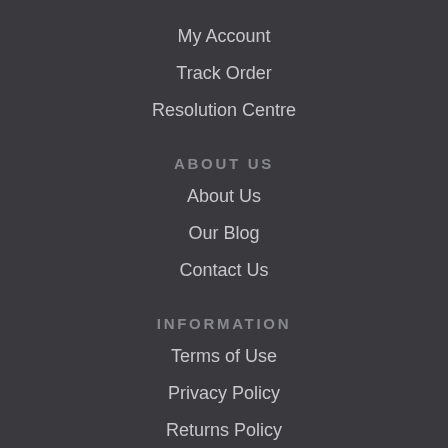My Account
Track Order
Resolution Centre
ABOUT US
About Us
Our Blog
Contact Us
INFORMATION
Terms of Use
Privacy Policy
Returns Policy
Security Policy